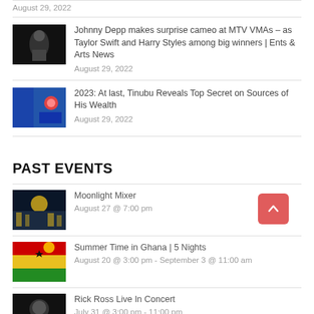August 29, 2022
Johnny Depp makes surprise cameo at MTV VMAs – as Taylor Swift and Harry Styles among big winners | Ents & Arts News — August 29, 2022
2023: At last, Tinubu Reveals Top Secret on Sources of His Wealth — August 29, 2022
PAST EVENTS
Moonlight Mixer — August 27 @ 7:00 pm
Summer Time in Ghana | 5 Nights — August 20 @ 3:00 pm - September 3 @ 11:00 am
Rick Ross Live In Concert — July 31 @ 3:00 pm - 11:00 pm
Early Bird